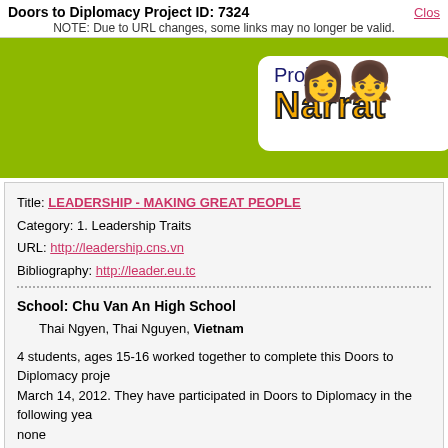Doors to Diplomacy Project ID: 7324 | Close | NOTE: Due to URL changes, some links may no longer be valid.
[Figure (logo): Project Narrative logo with cartoon student figures on green banner background]
Title: LEADERSHIP - MAKING GREAT PEOPLE
Category: 1. Leadership Traits
URL: http://leadership.cns.vn
Bibliography: http://leader.eu.tc
School: Chu Van An High School
Thai Ngyen, Thai Nguyen, Vietnam
4 students, ages 15-16 worked together to complete this Doors to Diplomacy project on March 14, 2012. They have participated in Doors to Diplomacy in the following years: none
Classes and Teachers: Dinh Huong, Le Van, Thu, Thao, Tung, Vinh
E-Mail contact: CLICK HERE
Our School's Web Site: http://